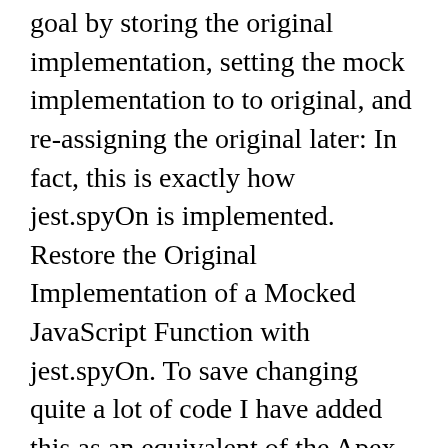goal by storing the original implementation, setting the mock implementation to to original, and re-assigning the original later: In fact, this is exactly how jest.spyOn is implemented. Restore the Original Implementation of a Mocked JavaScript Function with jest.spyOn. To save changing quite a lot of code I have added this as an equivalent of the Apex Test.isRunningTest for now (where $T is added by LTS): Thanks for contributing an answer to Salesforce Stack Exchange! That is why jest.spyOn() and .mockImplementation() looks like a best option for mocking existing window variables. None of the examples proved in this issue are correct usage of spyOn.. From the OP,